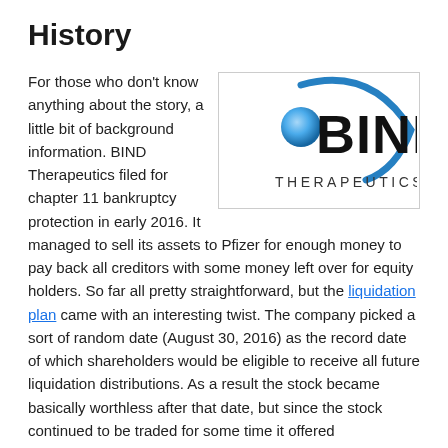History
[Figure (logo): BIND Therapeutics logo — a stylized blue sphere with blue arc/swoosh on right side, bold text 'BIND' and below it smaller text 'THERAPEUTICS']
For those who don't know anything about the story, a little bit of background information. BIND Therapeutics filed for chapter 11 bankruptcy protection in early 2016. It managed to sell its assets to Pfizer for enough money to pay back all creditors with some money left over for equity holders. So far all pretty straightforward, but the liquidation plan came with an interesting twist. The company picked a sort of random date (August 30, 2016) as the record date of which shareholders would be eligible to receive all future liquidation distributions. As a result the stock became basically worthless after that date, but since the stock continued to be traded for some time it offered shareholders a nice way to profit twice. I sold